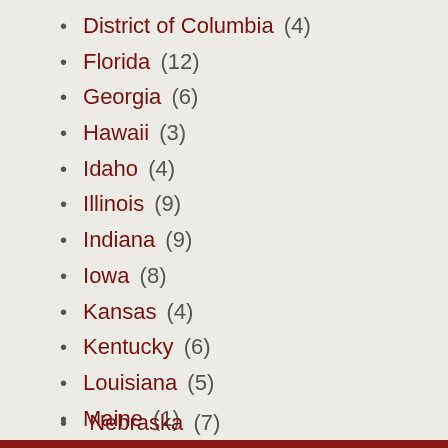District of Columbia (4)
Florida (12)
Georgia (6)
Hawaii (3)
Idaho (4)
Illinois (9)
Indiana (9)
Iowa (8)
Kansas (4)
Kentucky (6)
Louisiana (5)
Maine (1)
Maryland (9)
Massachusetts (5)
Michigan (16)
Minnesota (11)
Mississippi (6)
Missouri (9)
Montana (1)
Nebraska (7)